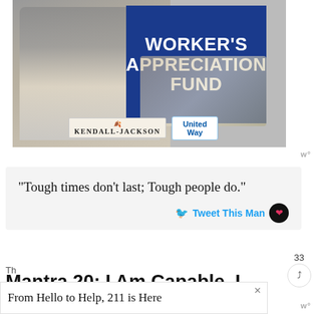[Figure (photo): Advertisement banner: smiling grocery store worker in apron, with text 'WORKER'S APPRECIATION FUND', Kendall-Jackson and United Way logos.]
“Tough times don’t last; Tough people do.”
Tweet This Mantra
33
Mantra 20: I Am Capable. I Am Strong. Believe in Myself.
From Hello to Help, 211 is Here